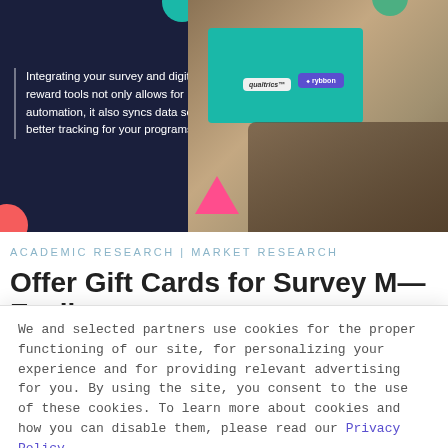[Figure (photo): Banner image showing a laptop with Qualtrics and Rybbon logos on screen, with text overlay: 'Integrating your survey and digital reward tools not only allows for automation, it also syncs data so you get better tracking for your programs.' Dark navy background on left, photo of hands on laptop on right.]
ACADEMIC RESEARCH | MARKET RESEARCH
Offer Gift Cards for Survey More Easily
We and selected partners use cookies for the proper functioning of our site, for personalizing your experience and for providing relevant advertising for you. By using the site, you consent to the use of these cookies. To learn more about cookies and how you can disable them, please read our Privacy Policy.
I AGREE